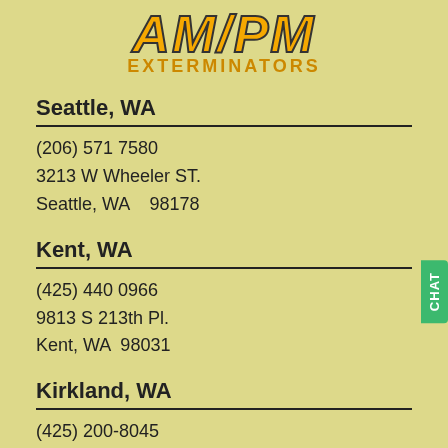[Figure (logo): AM/PM Exterminators logo with stylized yellow/orange italic text 'AM/PM' and bold 'EXTERMINATORS' subtitle]
Seattle, WA
(206) 571 7580
3213 W Wheeler ST.
Seattle, WA   98178
Kent, WA
(425) 440 0966
9813 S 213th Pl.
Kent, WA  98031
Kirkland, WA
(425) 200-8045